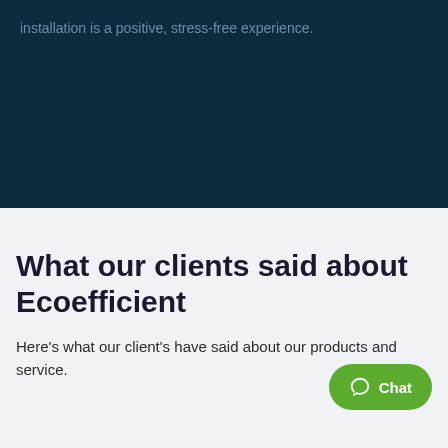installation is a positive, stress-free experience.
What our clients said about Ecoefficient
Here's what our client's have said about our products and service.